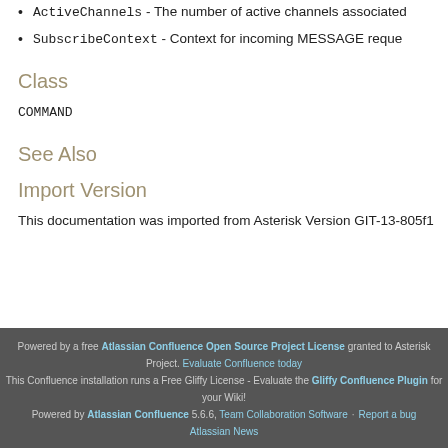ActiveChannels - The number of active channels associated
SubscribeContext - Context for incoming MESSAGE reque
Class
COMMAND
See Also
Import Version
This documentation was imported from Asterisk Version GIT-13-805f1
Powered by a free Atlassian Confluence Open Source Project License granted to Asterisk Project. Evaluate Confluence today
This Confluence installation runs a Free Gliffy License - Evaluate the Gliffy Confluence Plugin for your Wiki!
Powered by Atlassian Confluence 5.6.6, Team Collaboration Software · Report a bug
Atlassian News